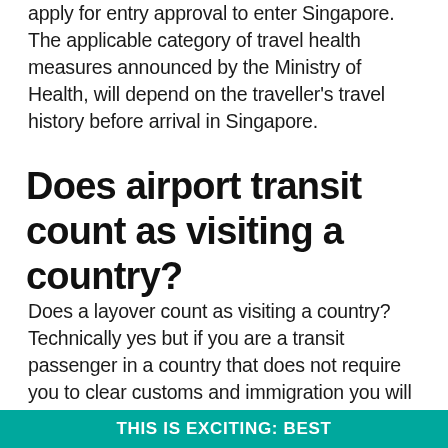apply for entry approval to enter Singapore. The applicable category of travel health measures announced by the Ministry of Health, will depend on the traveller's travel history before arrival in Singapore.
Does airport transit count as visiting a country?
Does a layover count as visiting a country? Technically yes but if you are a transit passenger in a country that does not require you to clear customs and immigration you will not normally be treated as a visitor. However check if you need a visa before travel as your airline can refuse your travel.
THIS IS EXCITING: Best